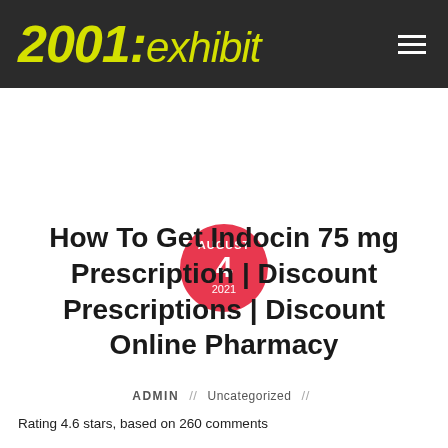2001: exhibit
AUGUST 4 2021
How To Get Indocin 75 mg Prescription | Discount Prescriptions | Discount Online Pharmacy
ADMIN // Uncategorized //
Rating 4.6 stars, based on 260 comments